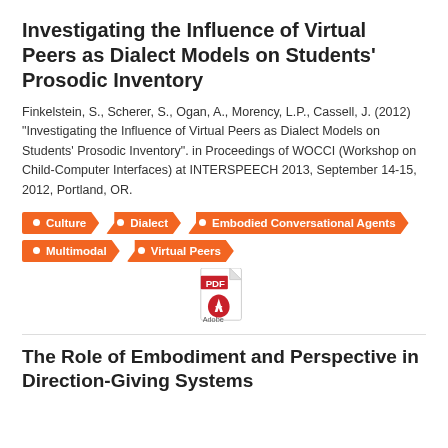Investigating the Influence of Virtual Peers as Dialect Models on Students' Prosodic Inventory
Finkelstein, S., Scherer, S., Ogan, A., Morency, L.P., Cassell, J. (2012) “Investigating the Influence of Virtual Peers as Dialect Models on Students’ Prosodic Inventory”. in Proceedings of WOCCI (Workshop on Child-Computer Interfaces) at INTERSPEECH 2013, September 14-15, 2012, Portland, OR.
Culture
Dialect
Embodied Conversational Agents
Multimodal
Virtual Peers
[Figure (illustration): PDF icon showing red Adobe Acrobat logo with PDF text label]
The Role of Embodiment and Perspective in Direction-Giving Systems